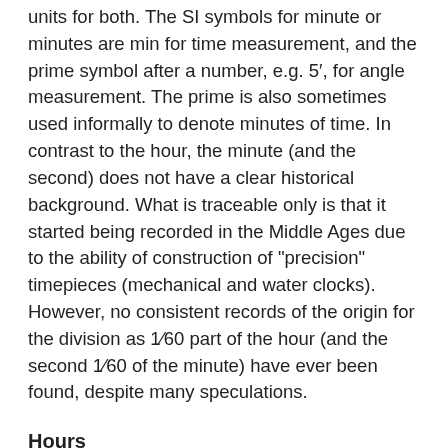units for both. The SI symbols for minute or minutes are min for time measurement, and the prime symbol after a number, e.g. 5′, for angle measurement. The prime is also sometimes used informally to denote minutes of time. In contrast to the hour, the minute (and the second) does not have a clear historical background. What is traceable only is that it started being recorded in the Middle Ages due to the ability of construction of "precision" timepieces (mechanical and water clocks). However, no consistent records of the origin for the division as 1⁄60 part of the hour (and the second 1⁄60 of the minute) have ever been found, despite many speculations.
Hours
An hour (symbol: h; also abbreviated hr.) is a unit of time conventionally reckoned as 1⁄24 of a day and scientifically reckoned as 3,599–3,601 seconds, depending on conditions. The seasonal, temporal, or